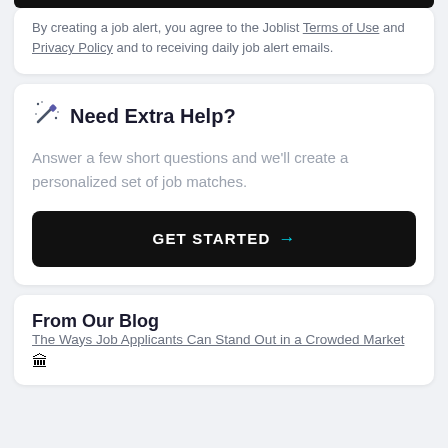By creating a job alert, you agree to the Joblist Terms of Use and Privacy Policy and to receiving daily job alert emails.
Need Extra Help?
Answer a few short questions and we'll create a personalized set of job matches.
GET STARTED →
From Our Blog
The Ways Job Applicants Can Stand Out in a Crowded Market